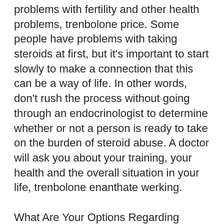problems with fertility and other health problems, trenbolone price. Some people have problems with taking steroids at first, but it's important to start slowly to make a connection that this can be a way of life. In other words, don't rush the process without going through an endocrinologist to determine whether or not a person is ready to take on the burden of steroid abuse. A doctor will ask you about your training, your health and the overall situation in your life, trenbolone enanthate werking.
What Are Your Options Regarding Steroids?
In our professional world, an athlete's entire training and recovery programs are run through their athletic medical director. This person is tasked with making sure you have all the resources necessary